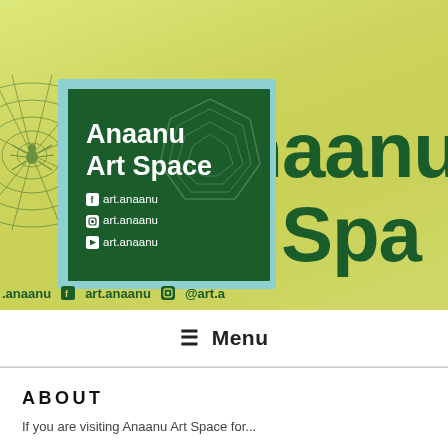[Figure (illustration): Anaanu Art Space website header banner with yellow-green gradient background, spider web graphic on left, large dark green text 'anaanu Art Space' in background, and a logo card with light blue border containing dark green background with white bold text 'Anaanu Art Space' and social media handles art.anaanu for Facebook, Instagram, and YouTube. Bottom bar shows social media links.]
≡  Menu
ABOUT
If you are visiting Anaanu Art Space for...